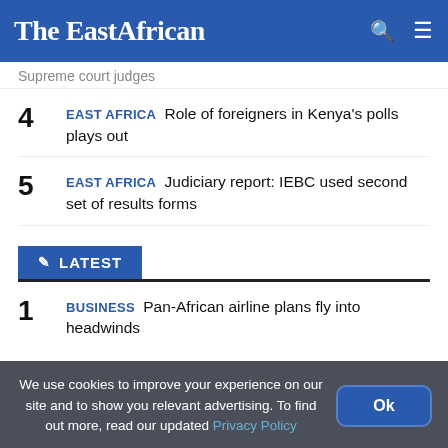The EastAfrican
Supreme court judges
4 EAST AFRICA Role of foreigners in Kenya's polls plays out
5 EAST AFRICA Judiciary report: IEBC used second set of results forms
LATEST
1 BUSINESS Pan-African airline plans fly into headwinds
We use cookies to improve your experience on our site and to show you relevant advertising. To find out more, read our updated Privacy Policy